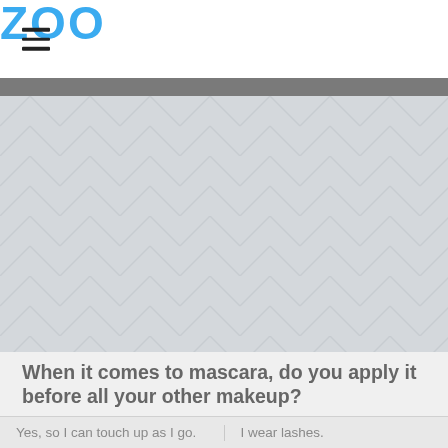ZOO
[Figure (illustration): Large image placeholder area with a light gray chevron/herringbone pattern background, representing an advertisement or article image.]
When it comes to mascara, do you apply it before all your other makeup?
Yes, so I can touch up as I go.
I wear lashes.